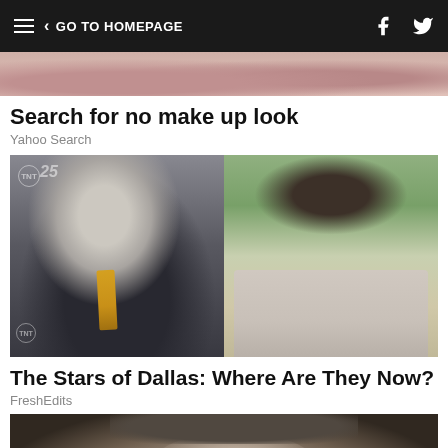< GO TO HOMEPAGE
[Figure (photo): Cropped close-up photo of a woman's face near lips/chin area]
Search for no make up look
Yahoo Search
[Figure (photo): Two side-by-side photos of actor Patrick Duffy: left shows him older at a TNT 25 event in a black suit with gold tie; right shows him young with dark hair in a grey shirt]
The Stars of Dallas: Where Are They Now?
FreshEdits
[Figure (photo): Close-up photo of a man's face against dark background, cropped at forehead]